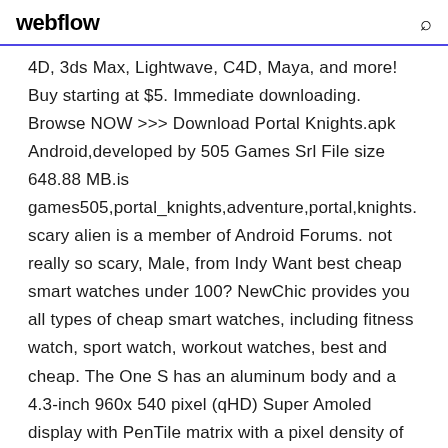webflow
4D, 3ds Max, Lightwave, C4D, Maya, and more! Buy starting at $5. Immediate downloading. Browse NOW >>> Download Portal Knights.apk Android,developed by 505 Games Srl File size 648.88 MB.is games505,portal_knights,adventure,portal,knights. scary alien is a member of Android Forums. not really so scary, Male, from Indy Want best cheap smart watches under 100? NewChic provides you all types of cheap smart watches, including fitness watch, sport watch, workout watches, best and cheap. The One S has an aluminum body and a 4.3-inch 960x 540 pixel (qHD) Super Amoled display with PenTile matrix with a pixel density of 256 pixels per